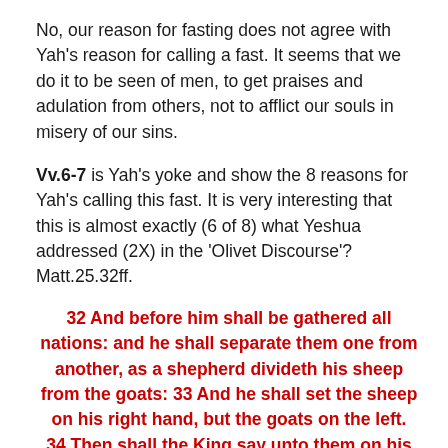No, our reason for fasting does not agree with Yah's reason for calling a fast. It seems that we do it to be seen of men, to get praises and adulation from others, not to afflict our souls in misery of our sins.
Vv.6-7 is Yah's yoke and show the 8 reasons for Yah's calling this fast. It is very interesting that this is almost exactly (6 of 8) what Yeshua addressed (2X) in the 'Olivet Discourse'? Matt.25.32ff.
32 And before him shall be gathered all nations: and he shall separate them one from another, as a shepherd divideth his sheep from the goats: 33 And he shall set the sheep on his right hand, but the goats on the left. 34 Then shall the King say unto them on his right hand, Come, ye blessed of my Father, inherit the kingdom prepared for you from the foundation of